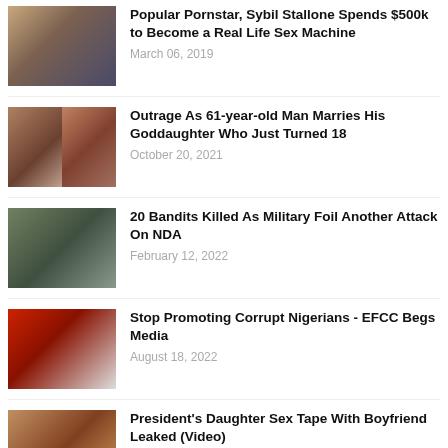Popular Pornstar, Sybil Stallone Spends $500k to Become a Real Life Sex Machine
March 06, 2019
Outrage As 61-year-old Man Marries His Goddaughter Who Just Turned 18
October 20, 2021
20 Bandits Killed As Military Foil Another Attack On NDA
February 12, 2022
Stop Promoting Corrupt Nigerians - EFCC Begs Media
August 18, 2022
President's Daughter Sex Tape With Boyfriend Leaked (Video)
September 30, 2017